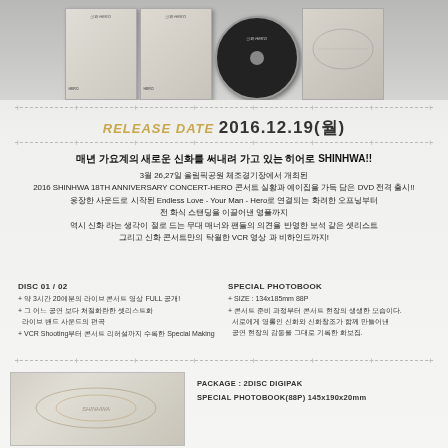[Figure (photo): Product images of SHINHWA 2016 concert DVD boxes and disc, arranged at the top of the page]
RELEASE DATE 2016.12.19(월)
매년 가요계의 새로운 신화를 써내려 가고 있는 히어로 SHINHWA!! 3월 26,27일 올림픽공원 체조경기장에서 개최된 2016 SHINHWA 18TH ANNIVERSARY CONCERT-HERO 콘서트 실황과 예이집을 가득 담은 DVD 전격 출시!! 웅장한 사운드로 시작된 Endless Love - Your Man - Hero로 연결되는 화려한 오프닝부터 전 화식 스탠딩을 이끌어낸 영플까지 역시 신화 라는 생각이 절로 드는 무대 매너와 팬들의 의견을 반영한 보석 같은 셋리스트 그리고 신화 콘서트만의 탁월한 VCR 영상 과 비하인드까지!
DISC 01 / 02
+ 약 3시간 20에분의 라이브 콘서트 영상 FULL 공개!
+ 그 어느 공연 보다 처절화란한 셋리스트화 라이브 밴드 사운드의 편곡
+ VCR Shooting부터 콘서트 리허설까지 수록한 Special Making
SPECIAL PHOTOBOOK
+ SIZE : 134x185mm 88P
+ 콘서트 준비 과정부터 콘서트 현장의 생생한 모습이다. 서로에게 영롤인 신화와 신화창조가 함께 만들어낸 공연 현장의 감동을 그대로 기록한 화보집.
[Figure (photo): Bottom product photo showing SHINHWA DVD package booklet]
PACKAGE : 2DISC DIGIPAK
SPECIAL PHOTOBOOK(88P) 145x190x20mm